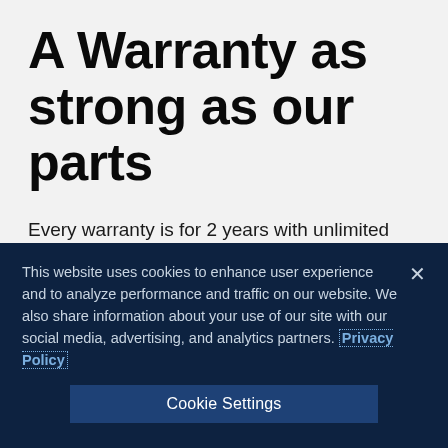A Warranty as strong as our parts
Every warranty is for 2 years with unlimited mileage and includes labor. That's Motorcraft strong.
[Figure (other): Red button with white uppercase text reading 'VIEW WARRANTY DETAILS', partially visible at the bottom of the main content area]
This website uses cookies to enhance user experience and to analyze performance and traffic on our website. We also share information about your use of our site with our social media, advertising, and analytics partners. Privacy Policy
Cookie Settings